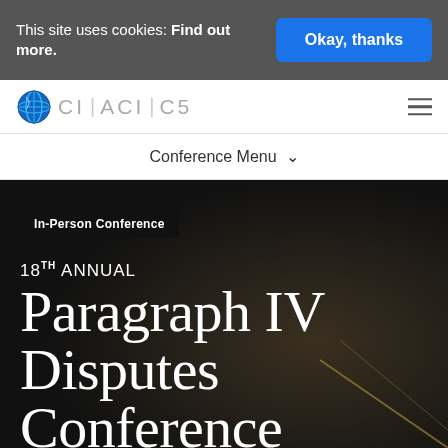This site uses cookies: Find out more.
Okay, thanks
[Figure (logo): CI ACI C5 logo with globe icon]
Conference Menu
In-Person Conference
18TH ANNUAL Paragraph IV Disputes Conference